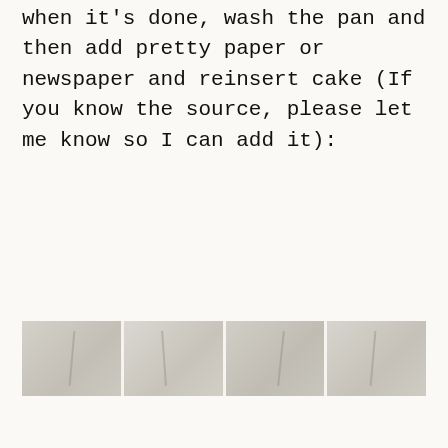when it's done, wash the pan and then add pretty paper or newspaper and reinsert cake (If you know the source, please let me know so I can add it):
[Figure (photo): A horizontal strip of images showing a cake in a pan lined with paper or newspaper, displayed as two side-by-side photos separated by a seam.]